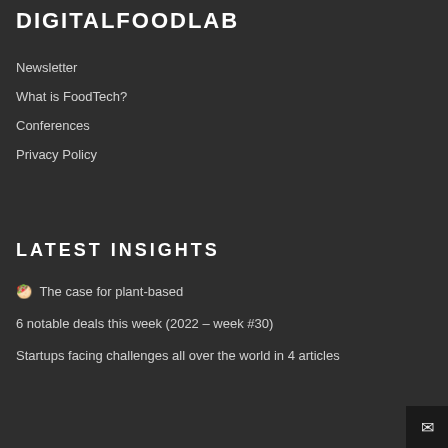DIGITALFOODLAB
Newsletter
What is FoodTech?
Conferences
Privacy Policy
LATEST INSIGHTS
🥙 The case for plant-based
6 notable deals this week (2022 – week #30)
Startups facing challenges all over the world in 4 articles